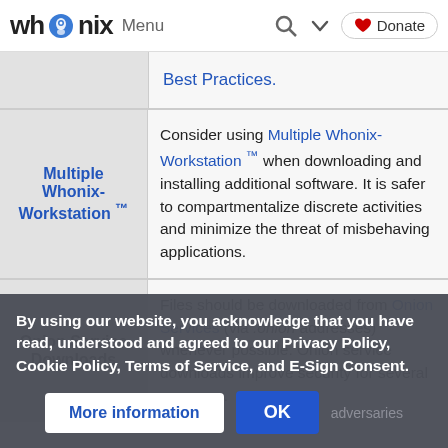whonix Menu | Search | Donate
| Topic | Description |
| --- | --- |
|  | Best Practices. |
| Multiple Whonix-Workstation ™ | Consider using Multiple Whonix-Workstation ™ when downloading and installing additional software. It is safer to compartmentalize discrete activities and minimize the threat of misbehaving applications. |
| Onion Service Downloads | Files should be downloaded from Onion Services (via .onion addresses) whenever possible. Onion service downloads improve security for several reasons... |
By using our website, you acknowledge that you have read, understood and agreed to our Privacy Policy, Cookie Policy, Terms of Service, and E-Sign Consent.
More information | OK